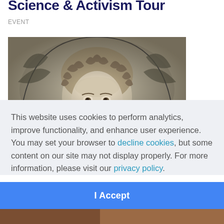Science & Activism Tour
EVENT
[Figure (illustration): Engraving-style portrait of a historical figure with curly hair, set within an arched frame with decorative foliage]
This website uses cookies to perform analytics, improve functionality, and enhance user experience. You may set your browser to decline cookies, but some content on our site may not display properly. For more information, please visit our privacy policy.
I Accept